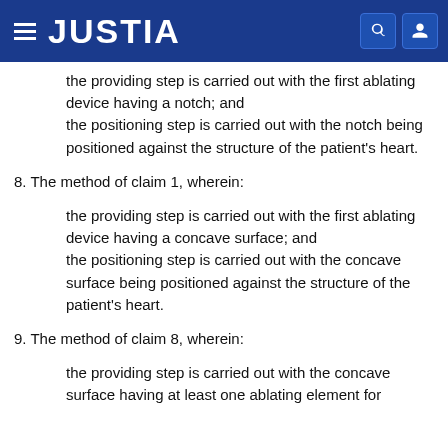JUSTIA
the providing step is carried out with the first ablating device having a notch; and the positioning step is carried out with the notch being positioned against the structure of the patient's heart.
8. The method of claim 1, wherein:
the providing step is carried out with the first ablating device having a concave surface; and the positioning step is carried out with the concave surface being positioned against the structure of the patient's heart.
9. The method of claim 8, wherein:
the providing step is carried out with the concave surface having at least one ablating element for